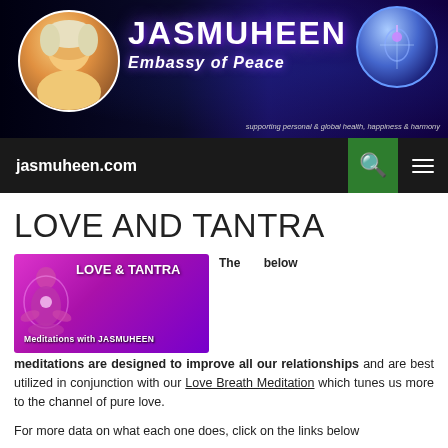[Figure (illustration): Jasmuheen Embassy of Peace website header banner with avatar photo, title text, decorative orb, and tagline]
jasmuheen.com
LOVE AND TANTRA
[Figure (illustration): Purple banner image reading LOVE & TANTRA Meditations with JASMUHEEN with meditating figure silhouette]
The below meditations are designed to improve all our relationships and are best utilized in conjunction with our Love Breath Meditation which tunes us more to the channel of pure love.
For more data on what each one does, click on the links below